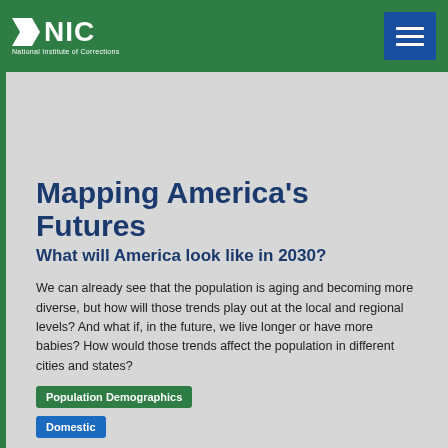NIC — National Institute of Corrections
Mapping America's Futures
What will America look like in 2030?
We can already see that the population is aging and becoming more diverse, but how will those trends play out at the local and regional levels? And what if, in the future, we live longer or have more babies? How would those trends affect the population in different cities and states?
Population Demographics
Domestic